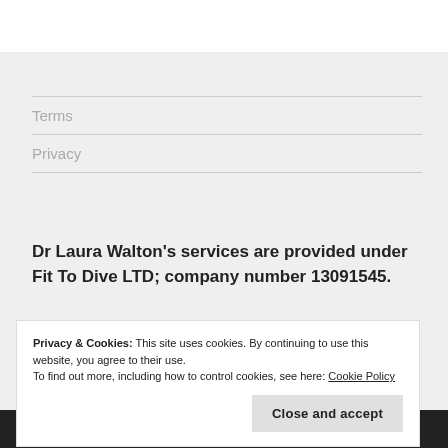Terms
Privacy
Dr Laura Walton's services are provided under Fit To Dive LTD; company number 13091545.
Privacy & Cookies: This site uses cookies. By continuing to use this website, you agree to their use.
To find out more, including how to control cookies, see here: Cookie Policy
WORDPRESS.COM.